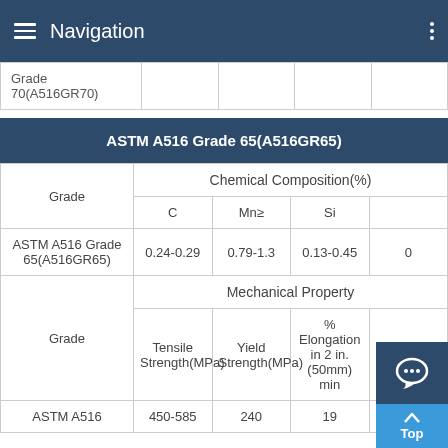Navigation
| Grade |  |  |  |  |
| --- | --- | --- | --- | --- |
| Grade
70(A516GR70) |  |  |  |  |
ASTM A516 Grade 65(A516GR65)
| Grade | Chemical Composition(%) |  |  |  |
| --- | --- | --- | --- | --- |
|  | C | Mn≥ | Si |  |
| ASTM A516 Grade 65(A516GR65) | 0.24-0.29 | 0.79-1.3 | 0.13-0.45 | 0 |
| Grade | Mechanical Property |  |  |  |
|  | Tensile Strength(MPa) | Yield Strength(MPa) | % Elongation in 2 in. (50mm) min | Impa Tempo |
| ASTM A516 | 450-585 | 240 | 19 |  |